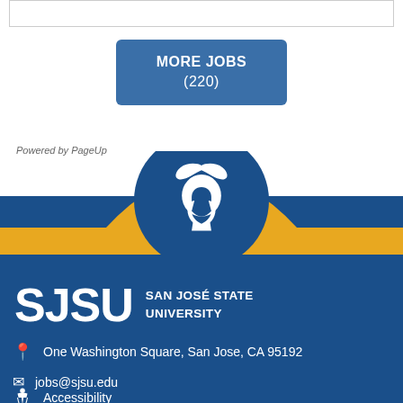MORE JOBS (220)
Powered by PageUp
[Figure (logo): SJSU Spartan helmet logo in white on blue circle with gold arc background]
SJSU SAN JOSÉ STATE UNIVERSITY
One Washington Square, San Jose, CA 95192
jobs@sjsu.edu
Accessibility